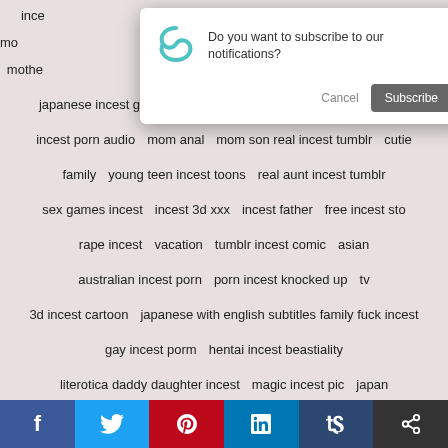Tag cloud with adult content search terms
[Figure (screenshot): Browser notification subscription dialog with Cancel and Subscribe buttons, and an infinity/loop icon]
Social share bar: Facebook, Twitter, Pinterest, LinkedIn, Tumblr, Share